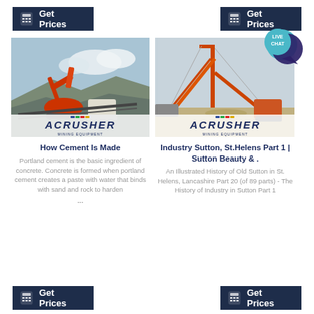[Figure (screenshot): Two 'Get Prices' buttons with calculator icon on dark navy background, shown in top row]
[Figure (photo): Mining/quarry equipment - excavator and crusher machinery with ACRUSHER logo banner at bottom]
[Figure (photo): Tall industrial crane/conveyor structure at a quarry with ACRUSHER logo banner at bottom. Live Chat badge in top right.]
How Cement Is Made
Portland cement is the basic ingredient of concrete. Concrete is formed when portland cement creates a paste with water that binds with sand and rock to harden
Industry Sutton, St.Helens Part 1 | Sutton Beauty & .
An Illustrated History of Old Sutton in St. Helens, Lancashire Part 20 (of 89 parts) - The History of Industry in Sutton Part 1
[Figure (screenshot): Two 'Get Prices' buttons with calculator icon on dark navy background, shown in bottom row]